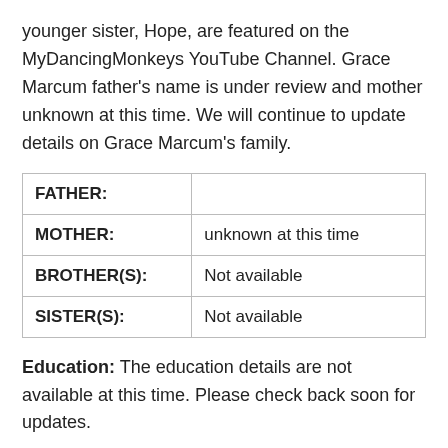younger sister, Hope, are featured on the MyDancingMonkeys YouTube Channel. Grace Marcum father's name is under review and mother unknown at this time. We will continue to update details on Grace Marcum's family.
| FATHER: |  |
| MOTHER: | unknown at this time |
| BROTHER(S): | Not available |
| SISTER(S): | Not available |
Education: The education details are not available at this time. Please check back soon for updates.
Dating: According to CelebsCouples, Grace Marcum is single .
Net Worth: Online estimates of Grace Marcum's net worth vary.